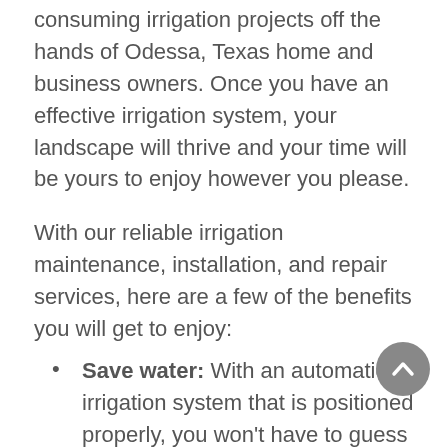Landscape management is dedicated to taking time-consuming irrigation projects off the hands of Odessa, Texas home and business owners. Once you have an effective irrigation system, your landscape will thrive and your time will be yours to enjoy however you please.
With our reliable irrigation maintenance, installation, and repair services, here are a few of the benefits you will get to enjoy:
Save water: With an automatic irrigation system that is positioned properly, you won't have to guess how much water to use or what direction to point the water for maximum efficiency.
Receive the highest quality irrigation products: We use RainBird and Hunter irrigation products